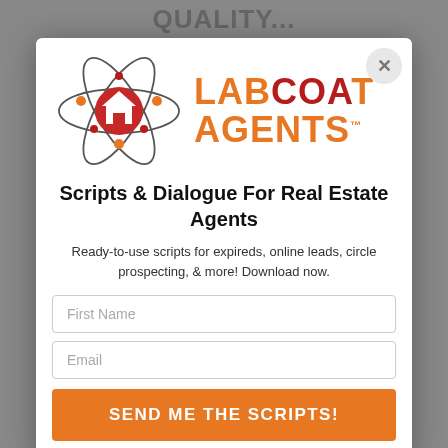QUALITY...
[Figure (logo): Labcoat Agents logo: atomic orbit graphic with house icon center, orange and red text reading LABCOAT AGENTS with TM mark]
Scripts & Dialogue For Real Estate Agents
Ready-to-use scripts for expireds, online leads, circle prospecting, & more! Download now.
First Name
Email
SEND ME THE SCRIPTS!